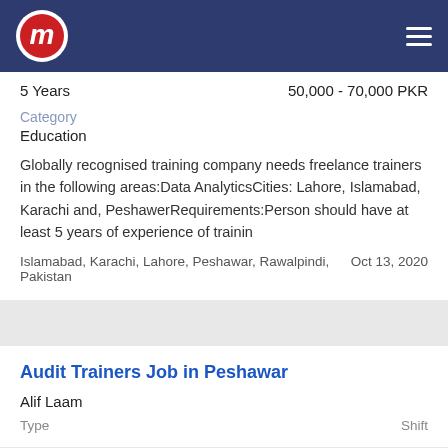Navigation header with logo and menu
5 Years    50,000 - 70,000 PKR
Category
Education
Globally recognised training company needs freelance trainers in the following areas:Data AnalyticsCities: Lahore, Islamabad, Karachi and, PeshawerRequirements:Person should have at least 5 years of experience of trainin
Islamabad, Karachi, Lahore, Peshawar, Rawalpindi, Pakistan    Oct 13, 2020
Audit Trainers Job in Peshawar
Alif Laam
Type    Shift